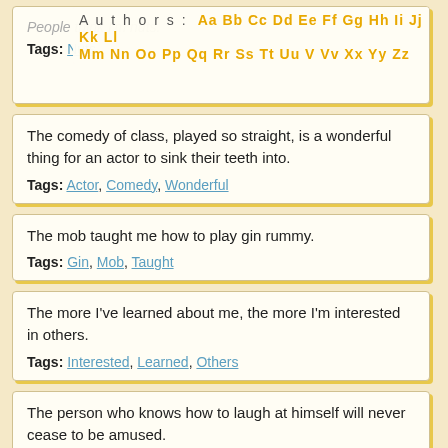Authors: Aa Bb Cc Dd Ee Ff Gg Hh Ii Jj Kk Ll Mm Nn Oo Pp Qq Rr Ss Tt Uu V Vv Xx Yy Zz
People think I'm nuts.
Tags: Nuts
The comedy of class, played so straight, is a wonderful thing for an actor to sink their teeth into.
Tags: Actor, Comedy, Wonderful
The mob taught me how to play gin rummy.
Tags: Gin, Mob, Taught
The more I've learned about me, the more I'm interested in others.
Tags: Interested, Learned, Others
The person who knows how to laugh at himself will never cease to be amused.